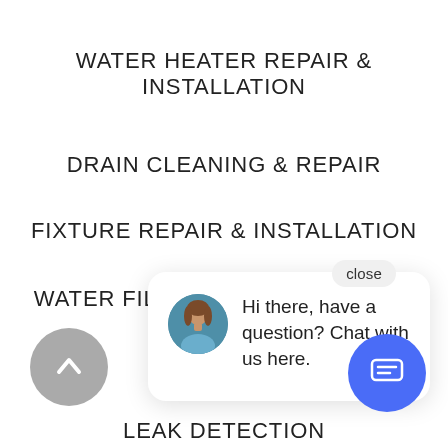WATER HEATER REPAIR & INSTALLATION
DRAIN CLEANING & REPAIR
FIXTURE REPAIR & INSTALLATION
WATER FILTRATION + SOFTENERS
[Figure (screenshot): Live chat popup with avatar of a woman and text: Hi there, have a question? Chat with us here. A close button is visible top right of the popup. A blue chat icon button is at bottom right of the page. A grey scroll-up button is at bottom left.]
REPIPING
LEAK DETECTION